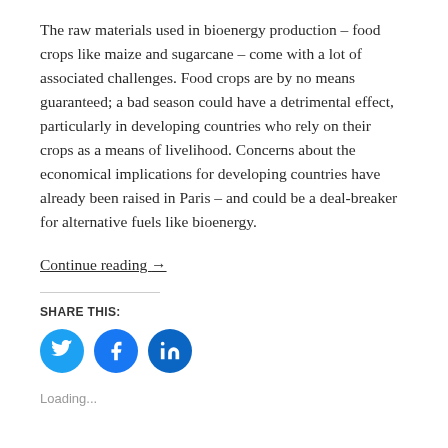The raw materials used in bioenergy production – food crops like maize and sugarcane – come with a lot of associated challenges. Food crops are by no means guaranteed; a bad season could have a detrimental effect, particularly in developing countries who rely on their crops as a means of livelihood. Concerns about the economical implications for developing countries have already been raised in Paris – and could be a deal-breaker for alternative fuels like bioenergy.
Continue reading →
SHARE THIS:
[Figure (other): Three circular social media share buttons: Twitter (blue bird icon), Facebook (blue f icon), LinkedIn (blue in icon)]
Loading...